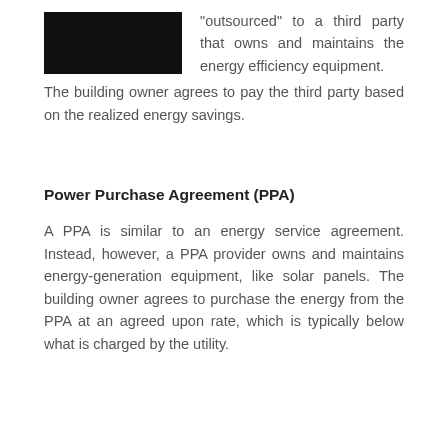[Figure (photo): Dark/black rectangular image at top left of page]
“Outsourced” to a third party that owns and maintains the energy efficiency equipment. The building owner agrees to pay the third party based on the realized energy savings.
Power Purchase Agreement (PPA)
A PPA is similar to an energy service agreement. Instead, however, a PPA provider owns and maintains energy-generation equipment, like solar panels. The building owner agrees to purchase the energy from the PPA at an agreed upon rate, which is typically below what is charged by the utility.